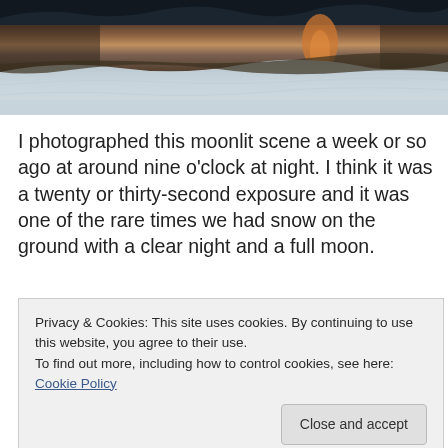[Figure (photo): A moonlit winter night scene showing a river or stream with snow on the banks, dark trees reflected in the water, and a warm orange light reflection visible on the water surface.]
I photographed this moonlit scene a week or so ago at around nine o'clock at night. I think it was a twenty or thirty-second exposure and it was one of the rare times we had snow on the ground with a clear night and a full moon.
Privacy & Cookies: This site uses cookies. By continuing to use this website, you agree to their use.
To find out more, including how to control cookies, see here: Cookie Policy
Close and accept